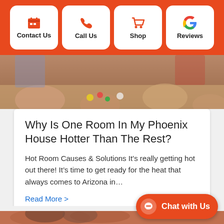Contact Us | Call Us | Shop | Reviews
[Figure (photo): People's hands around a board game on a table]
Why Is One Room In My Phoenix House Hotter Than The Rest?
Hot Room Causes & Solutions It’s really getting hot out there! It’s time to get ready for the heat that always comes to Arizona in…
Read More >
[Figure (photo): Children or people, partial view at bottom of page]
Chat with Us